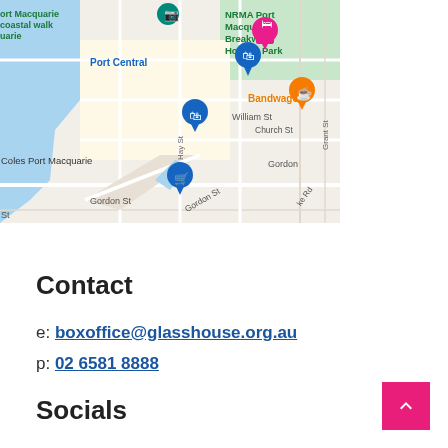[Figure (map): Google Maps screenshot showing Port Macquarie area with street names including William St, Gordon St, Hay St, Church St, Grant St, and locations such as NRMA Port Macquarie Breakwall Holiday Park, Port Central, Bandwagon, Coles Port Macquarie, Port Macquarie coastal walk.]
Contact
e: boxoffice@glasshouse.org.au
p: 02 6581 8888
Socials